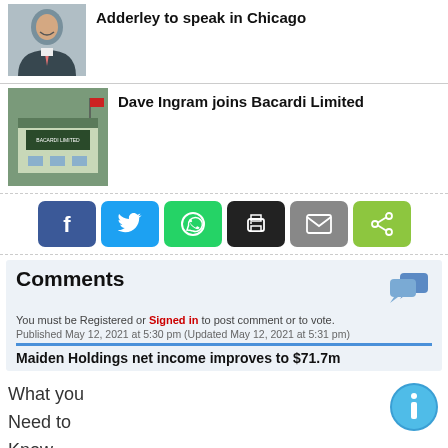Adderley to speak in Chicago
[Figure (photo): Headshot of a bald man in a suit with a pink tie, smiling]
Dave Ingram joins Bacardi Limited
[Figure (photo): Exterior photo of Bacardi Limited building with sign]
[Figure (infographic): Social sharing buttons: Facebook, Twitter, WhatsApp, Print, Email, Share]
Comments
You must be Registered or Signed in to post comment or to vote.
Published May 12, 2021 at 5:30 pm (Updated May 12, 2021 at 5:31 pm)
Maiden Holdings net income improves to $71.7m
What you
Need to
Know
1.  For a smooth experience with our commenting system we recommend that you use Internet Explorer